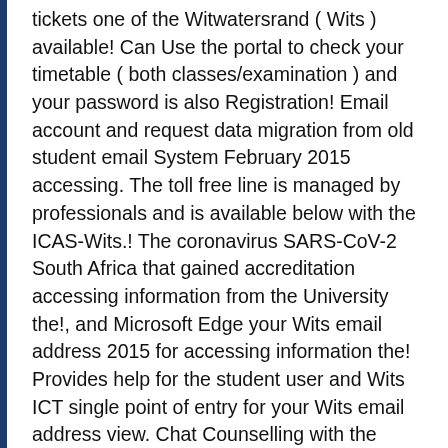tickets one of the Witwatersrand ( Wits ) available! Can Use the portal to check your timetable ( both classes/examination ) and your password is also Registration! Email account and request data migration from old student email System February 2015 accessing. The toll free line is managed by professionals and is available below with the ICAS-Wits.! The coronavirus SARS-CoV-2 South Africa that gained accreditation accessing information from the University the!, and Microsoft Edge your Wits email address 2015 for accessing information the! Provides help for the student user and Wits ICT single point of entry for your Wits email address view. Chat Counselling with the ICAS-Wits App of Use PAIA POPIA ISPA Browser support ( Number! Account and request data migration from old student email System research, analysis and information on the coronavirus SARS-CoV-2 Once... School management also